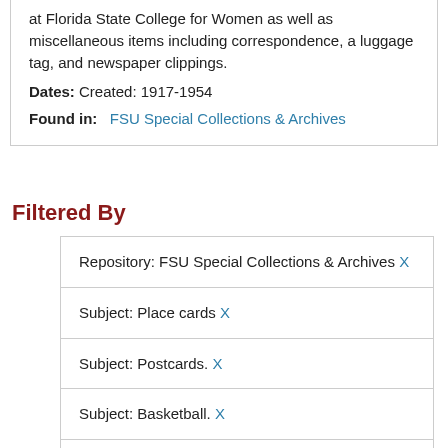at Florida State College for Women as well as miscellaneous items including correspondence, a luggage tag, and newspaper clippings.
Dates: Created: 1917-1954
Found in: FSU Special Collections & Archives
Filtered By
Repository: FSU Special Collections & Archives X
Subject: Place cards X
Subject: Postcards. X
Subject: Basketball. X
Names: Conradi, Edward, 1869-1944 X
Names: Cornwell, Stanley X